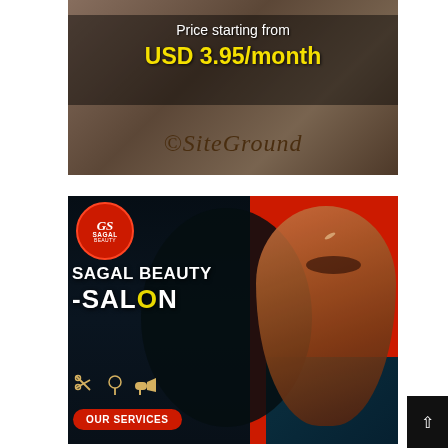[Figure (photo): SiteGround web hosting advertisement banner showing 'Price starting from USD 3.95/month' in white and yellow text over a dark background, with the SiteGround logo in cursive brown text below]
[Figure (photo): Sagal Beauty Salon advertisement showing a woman's face on a red and black background, with the Sagal logo (circular red badge), text 'SAGAL BEAUTY SALON', salon tool icons (scissors, comb, blow dryer), and 'OUR SERVICES' button]